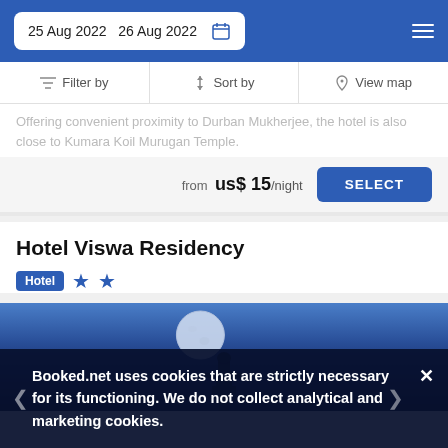25 Aug 2022  26 Aug 2022
Filter by  |  Sort by  |  View map
Offering convenient proximity to Durban Mukherjee, the hotel is also close to Kumara Koil Murugan Temple.
from us$ 15/night  SELECT
Hotel Viswa Residency
Hotel ★★
[Figure (photo): Night sky with full moon and dark silhouette of a statue/monument against a blue twilight sky]
Booked.net uses cookies that are strictly necessary for its functioning. We do not collect analytical and marketing cookies.